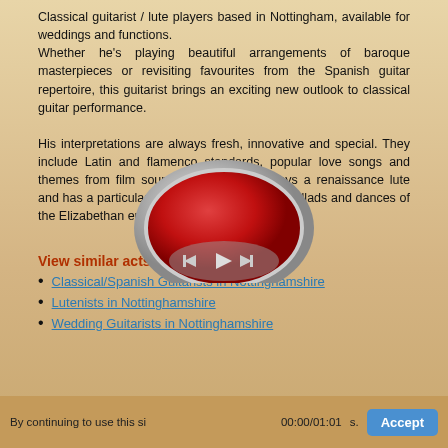Classical guitarist / lute players based in Nottingham, available for weddings and functions. Whether he's playing beautiful arrangements of baroque masterpieces or revisiting favourites from the Spanish guitar repertoire, this guitarist brings an exciting new outlook to classical guitar performance.
His interpretations are always fresh, innovative and special. They include Latin and flamenco standards, popular love songs and themes from film soundtracks. He also plays a renaissance lute and has a particular affection for the popular ballads and dances of the Elizabethan era.
View similar acts:
Classical/Spanish Guitarists in Nottinghamshire
Lutenists in Nottinghamshire
Wedding Guitarists in Nottinghamshire
[Figure (other): Media player widget showing red circular player with playback controls and time display 00:00/01:01]
By continuing to use this si... 00:00/01:01 ...s. Accept